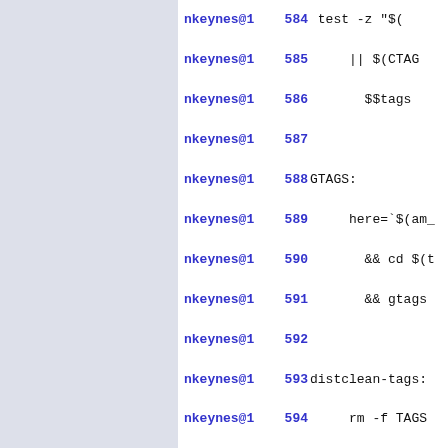| author | line | code |
| --- | --- | --- |
| nkeynes@1 | 584 | test -z "$( |
| nkeynes@1 | 585 | || $(CTAG |
| nkeynes@1 | 586 | $$tags |
| nkeynes@1 | 587 |  |
| nkeynes@1 | 588 | GTAGS: |
| nkeynes@1 | 589 | here=`$(am_ |
| nkeynes@1 | 590 | && cd $(t |
| nkeynes@1 | 591 | && gtags |
| nkeynes@1 | 592 |  |
| nkeynes@1 | 593 | distclean-tags: |
| nkeynes@1 | 594 | rm -f TAGS |